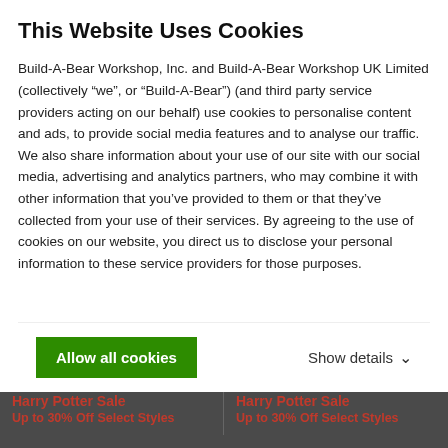This Website Uses Cookies
Build-A-Bear Workshop, Inc. and Build-A-Bear Workshop UK Limited (collectively “we”, or “Build-A-Bear”) (and third party service providers acting on our behalf) use cookies to personalise content and ads, to provide social media features and to analyse our traffic. We also share information about your use of our site with our social media, advertising and analytics partners, who may combine it with other information that you’ve provided to them or that they’ve collected from your use of their services. By agreeing to the use of cookies on our website, you direct us to disclose your personal information to these service providers for those purposes.
Allow all cookies
Show details
Harry Potter Bear Gryffindor Gift Set with House Robe, Scarf, Hogwarts Pants & Wand
Shop the Set
Harry Potter Sale
Up to 30% Off Select Styles
Harry Potter Bear Ravenclaw Gift Set with House Robe, Scarf, Hogwarts Pants & Wand
Shop the Set
Harry Potter Sale
Up to 30% Off Select Styles